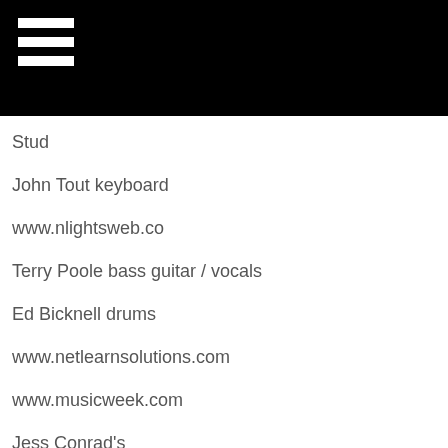[Figure (other): Black header bar with hamburger menu icon (three white horizontal lines) in the top-left corner]
Stud
John Tout keyboard
www.nlightsweb.co
Terry Poole bass guitar / vocals
Ed Bicknell drums
www.netlearnsolutions.com
www.musicweek.com
Jess Conrad's